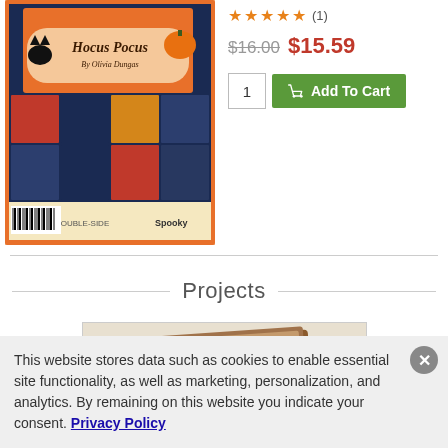[Figure (photo): Product image of Halloween-themed scrapbooking paper collection 'Hocus Pocus' showing colorful pages with jack-o-lanterns, black cats, bats and Halloween stickers]
★★★★★ (1)
$16.00  $15.59
1  Add To Cart
Projects
[Figure (photo): Project card showing a wooden-look craft project with floral elements]
This website stores data such as cookies to enable essential site functionality, as well as marketing, personalization, and analytics. By remaining on this website you indicate your consent. Privacy Policy